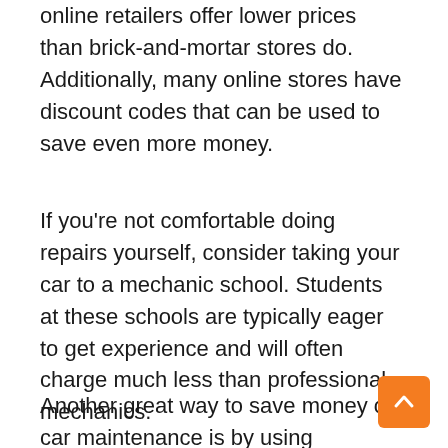online retailers offer lower prices than brick-and-mortar stores do. Additionally, many online stores have discount codes that can be used to save even more money.
If you're not comfortable doing repairs yourself, consider taking your car to a mechanic school. Students at these schools are typically eager to get experience and will often charge much less than professional mechanics.
Another great way to save money on car maintenance is by using coupons. Many auto parts stores offer discounts when you purchase supplies or services in-store. Be